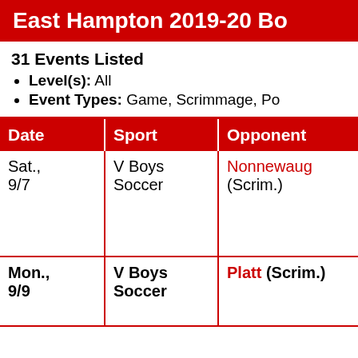East Hampton 2019-20 Bo
31 Events Listed
Level(s): All
Event Types: Game, Scrimmage, Po
| Date | Sport | Opponent | H/A- |
| --- | --- | --- | --- |
| Sat., 9/7 | V Boys Soccer | Nonnewaug (Scrim.) | Away Nonn HS-T Hollo [Direc |
| Mon., 9/9 | V Boys Soccer | Platt (Scrim.) | Hom Hamp HS-N |